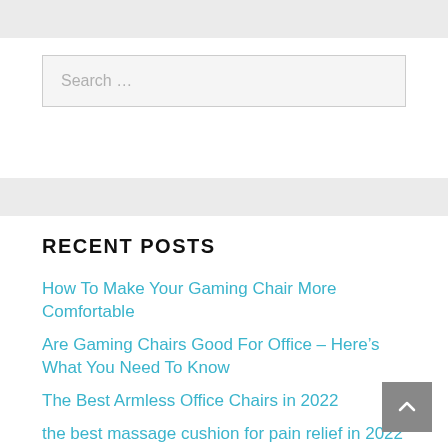Search …
RECENT POSTS
How To Make Your Gaming Chair More Comfortable
Are Gaming Chairs Good For Office – Here's What You Need To Know
The Best Armless Office Chairs in 2022
the best massage cushion for pain relief in 2022